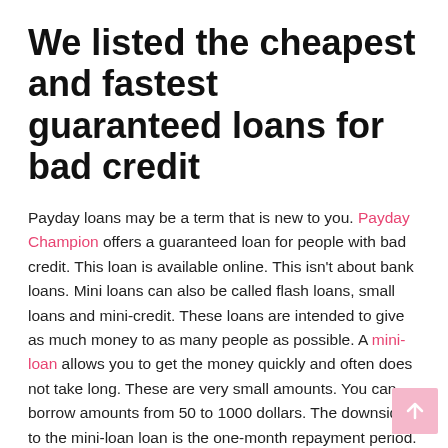We listed the cheapest and fastest guaranteed loans for bad credit
Payday loans may be a term that is new to you. Payday Champion offers a guaranteed loan for people with bad credit. This loan is available online. This isn't about bank loans. Mini loans can also be called flash loans, small loans and mini-credit. These loans are intended to give as much money to as many people as possible. A mini-loan allows you to get the money quickly and often does not take long. These are very small amounts. You can borrow amounts from 50 to 1000 dollars. The downside to the mini-loan loan is the one-month repayment period.
A mini-loan allows you to